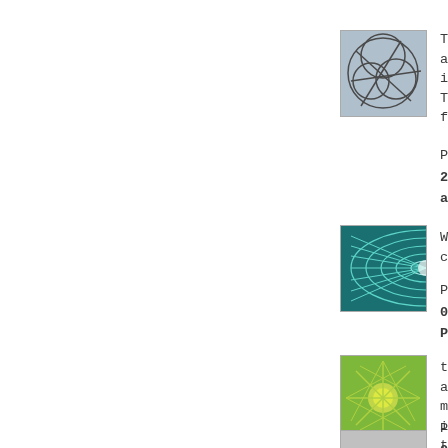[Figure (illustration): Avatar image with abstract overlapping circle/line pattern on blue-grey background]
These are indeed.
Thanks fo
Posted
2012 at
[Figure (illustration): Avatar image with teal/green concentric curved grid lines on dark teal background]
Where ca
Posted
03:31 P
[Figure (illustration): Avatar image with yellow-green starburst/sunburst pattern on green background]
these are
much into
the rest!
Posted
04:47 P
[Figure (illustration): Partially visible avatar image at bottom of page]